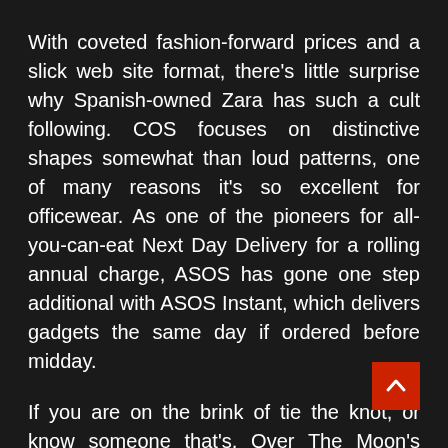With coveted fashion-forward prices and a slick web site format, there's little surprise why Spanish-owned Zara has such a cult following. COS focuses on distinctive shapes somewhat than loud patterns, one of many reasons it's so excellent for officewear. As one of the pioneers for all-you-can-eat Next Day Delivery for a rolling annual charge, ASOS has gone one step additional with ASOS Instant, which delivers gadgets the same day if ordered before midday.
If you are on the brink of tie the knot, or know someone that's, Over The Moon's shop has every thing and something you presumably can consider—from styling tips to one thing blue—to make the large day further memorable. Flask & Field proprietor, Miriam Yoo, discovered that there we scarcity of locations to buy spirits in L.A., so she d up with one herself. Shop their online wine membership, stock up on bar ware, or reward one of